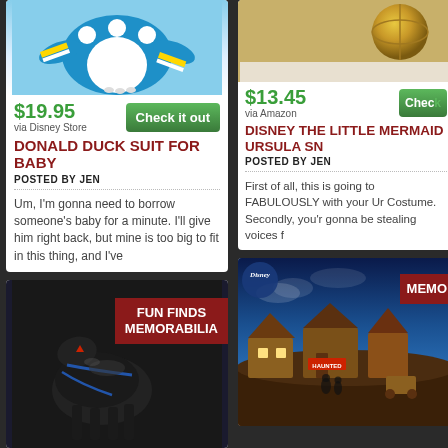[Figure (photo): Donald Duck baby costume onesie in blue with white polka dots and yellow stripes]
$19.95 via Disney Store
Check it out
DONALD DUCK SUIT FOR BABY
POSTED BY JEN
Um, I'm gonna need to borrow someone's baby for a minute. I'll give him right back, but mine is too big to fit in this thing, and I've
[Figure (photo): Dark horse/knight memorabilia figure with FUN FINDS MEMORABILIA label]
[Figure (photo): Gold/bronze ball product image on right side top]
$13.45 via Amazon
Check
DISNEY THE LITTLE MERMAID URSULA SN
POSTED BY JEN
First of all, this is going to FABULOUSLY with your Ur Costume. Secondly, you'r gonna be stealing voices f
[Figure (photo): Disney scene with cartoon buildings and characters, MEMO label]